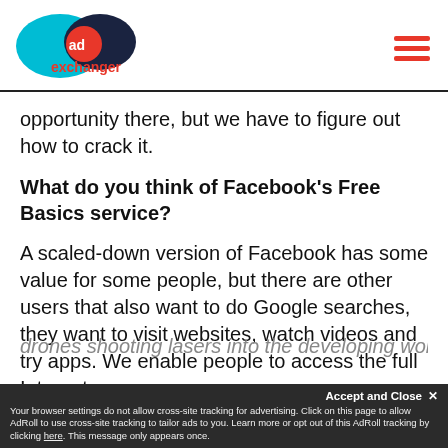AdExchanger logo and hamburger menu
opportunity there, but we have to figure out how to crack it.
What do you think of Facebook's Free Basics service?
A scaled-down version of Facebook has some value for some people, but there are other users that also want to do Google searches, they want to visit websites, watch videos and try apps. We enable people to access the full Internet.
drones shooting lasers into the developing world or
Accept and Close ×
Your browser settings do not allow cross-site tracking for advertising. Click on this page to allow AdRoll to use cross-site tracking to tailor ads to you. Learn more or opt out of this AdRoll tracking by clicking here. This message only appears once.